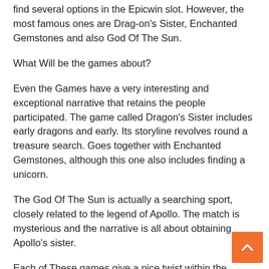find several options in the Epicwin slot. However, the most famous ones are Drag-on's Sister, Enchanted Gemstones and also God Of The Sun.
What Will be the games about?
Even the Games have a very interesting and exceptional narrative that retains the people participated. The game called Dragon's Sister includes early dragons and early. Its storyline revolves round a treasure search. Goes together with Enchanted Gemstones, although this one also includes finding a unicorn.
The God Of The Sun is actually a searching sport, closely related to the legend of Apollo. The match is mysterious and the narrative is all about obtaining Apollo's sister.
Each of These games give a nice twist within the